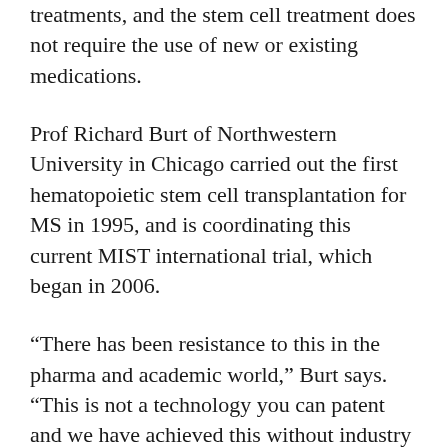treatments, and the stem cell treatment does not require the use of new or existing medications.
Prof Richard Burt of Northwestern University in Chicago carried out the first hematopoietic stem cell transplantation for MS in 1995, and is coordinating this current MIST international trial, which began in 2006.
“There has been resistance to this in the pharma and academic world,” Burt says. “This is not a technology you can patent and we have achieved this without industry